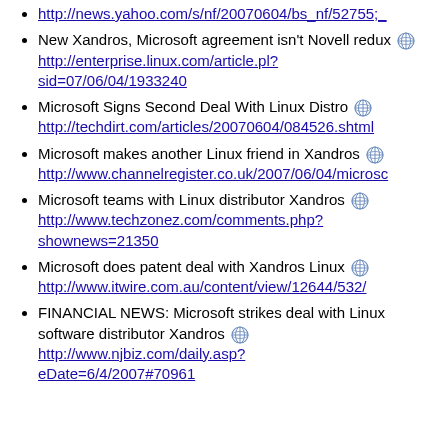http://news.yahoo.com/s/nf/20070604/bs_nf/52755;_
New Xandros, Microsoft agreement isn't Novell redux [globe] http://enterprise.linux.com/article.pl?sid=07/06/04/1933240
Microsoft Signs Second Deal With Linux Distro [globe] http://techdirt.com/articles/20070604/084526.shtml
Microsoft makes another Linux friend in Xandros [globe] http://www.channelregister.co.uk/2007/06/04/microsc
Microsoft teams with Linux distributor Xandros [globe] http://www.techzonez.com/comments.php?shownews=21350
Microsoft does patent deal with Xandros Linux [globe] http://www.itwire.com.au/content/view/12644/532/
FINANCIAL NEWS: Microsoft strikes deal with Linux software distributor Xandros [globe] http://www.njbiz.com/daily.asp?eDate=6/4/2007#70961